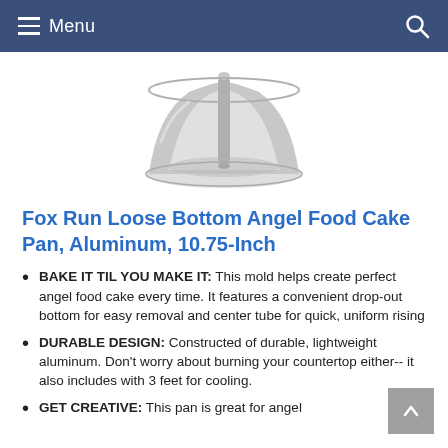Menu
[Figure (photo): Silver aluminum angel food cake pan with center tube and loose bottom, viewed from slightly above at an angle, showing the round pan with flared sides.]
Fox Run Loose Bottom Angel Food Cake Pan, Aluminum, 10.75-Inch
BAKE IT TIL YOU MAKE IT: This mold helps create perfect angel food cake every time. It features a convenient drop-out bottom for easy removal and center tube for quick, uniform rising
DURABLE DESIGN: Constructed of durable, lightweight aluminum. Don't worry about burning your countertop either-- it also includes with 3 feet for cooling.
GET CREATIVE: This pan is great for angel